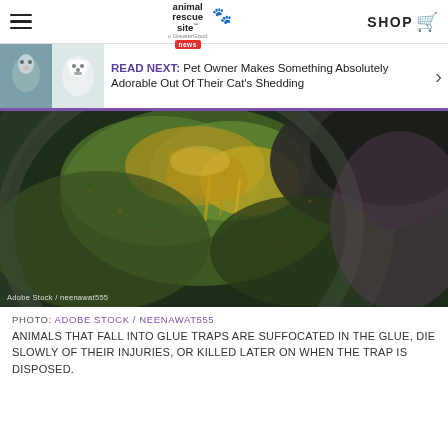The Animal Rescue Site News | SHOP
READ NEXT: Pet Owner Makes Something Absolutely Adorable Out Of Their Cat's Shedding
[Figure (photo): Close-up photo of an animal caught in a glue trap, showing fur matted with green and yellow adhesive on a dark circular trap surface. Watermark: Adobe Stock / neenawat555]
PHOTO: ADOBE STOCK / NEENAWAT555
ANIMALS THAT FALL INTO GLUE TRAPS ARE SUFFOCATED IN THE GLUE, DIE SLOWLY OF THEIR INJURIES, OR KILLED LATER ON WHEN THE TRAP IS DISPOSED.